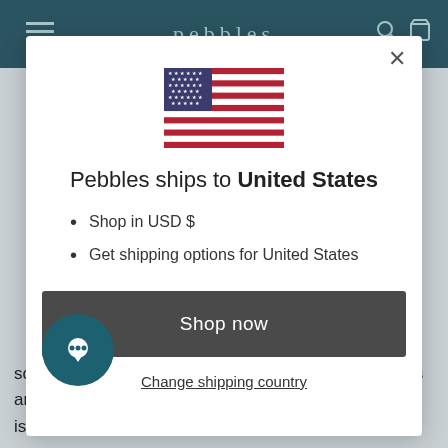pebbles
[Figure (illustration): US flag emoji/icon centered in modal]
Pebbles ships to United States
Shop in USD $
Get shipping options for United States
Shop now
Change shipping country
sometimes women are told to just listen to their bodies and rely on that their bodies will tell them if something is